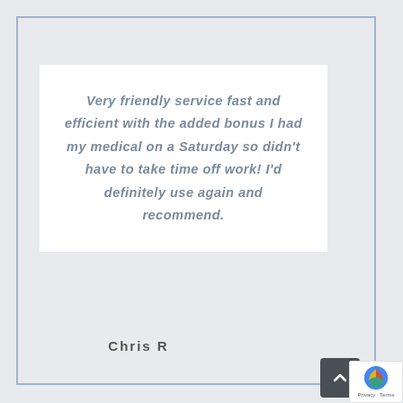Very friendly service fast and efficient with the added bonus I had my medical on a Saturday so didn't have to take time off work! I'd definitely use again and recommend.
Chris R